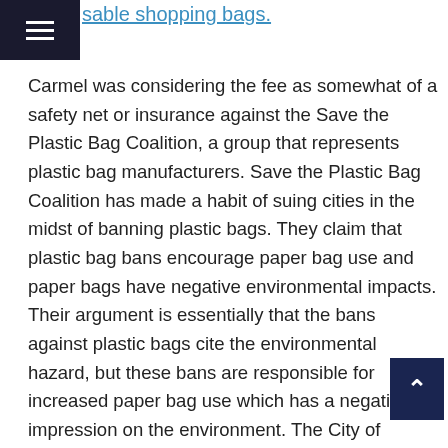≡
sable shopping bags.
Carmel was considering the fee as somewhat of a safety net or insurance against the Save the Plastic Bag Coalition, a group that represents plastic bag manufacturers. Save the Plastic Bag Coalition has made a habit of suing cities in the midst of banning plastic bags. They claim that plastic bag bans encourage paper bag use and paper bags have negative environmental impacts. Their argument is essentially that the bans against plastic bags cite the environmental hazard, but these bans are responsible for increased paper bag use which has a negative impression on the environment. The City of Carmel s hoping to deconstruct the argument of the Save the Plastic Bag Coalition before they had a chance to use it by charging the fee and discouraging consumers from